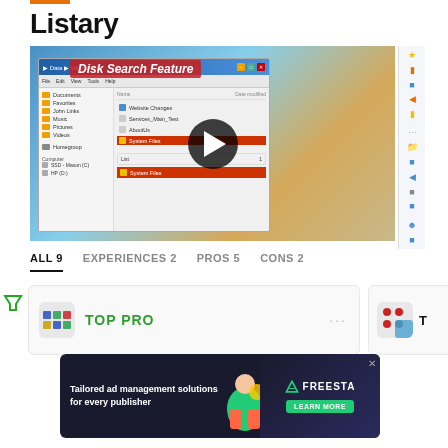Listary
[Figure (screenshot): Screenshot of Listary application showing the Disk Search Feature with a Windows Explorer window overlay and a video play button in the center. Right side shows icon strip.]
ALL 9   EXPERIENCES 2   PROS 5   CONS 2
[Figure (screenshot): Card showing TOP PRO label with avatar icon and three-dot menu. Partial second card visible to the right with close button.]
[Figure (infographic): Advertisement banner: 'Tailored ad management solutions for every publisher' with Freesta logo and LEARN MORE button.]